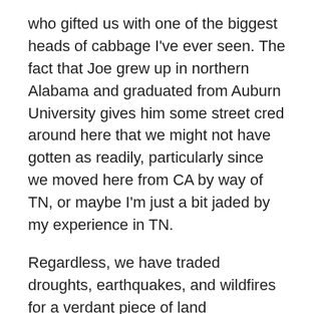who gifted us with one of the biggest heads of cabbage I've ever seen. The fact that Joe grew up in northern Alabama and graduated from Auburn University gives him some street cred around here that we might not have gotten as readily, particularly since we moved here from CA by way of TN, or maybe I'm just a bit jaded by my experience in TN.
Regardless, we have traded droughts, earthquakes, and wildfires for a verdant piece of land overlooking a huge pond, rolling pastures, and the kind of privacy we only dreamed about after living cheek to jowl with neighbors outside Los Angeles. Our vocabulary now includes words like “Bush Hog” and “Kubota.” We’ve made friends with Stella and Jake, our cattle-owning neighbor’s cattle dogs, who ride along with him when he drives his Kubota over from his land to ours. We wave to Miss Fancy and Butters